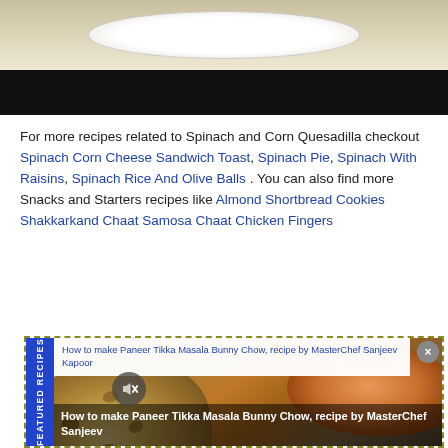[Figure (photo): Food photo showing a dish on a white plate with dark bar below (partial/cropped at top of page)]
For more recipes related to Spinach and Corn Quesadilla checkout Spinach Corn Cheese Sandwich Toast, Spinach Pie, Spinach With Raisins, Spinach Rice And Olive Balls . You can also find more Snacks and Starters recipes like Almond Shortbread Cookies Shakkarkand Chaat Samosa Chaat Chicken Fingers
[Figure (photo): Featured recipes widget showing food image with FEATURED RECIPES vertical label on blue sidebar, overlaid with title 'How to make Paneer Tikka Masala Bunny Chow, recipe by MasterChef Sanjeev Kapoor'. Shows flat bread (roti/naan) on left and a dish with orange/red curry on right. Close button in top right corner.]